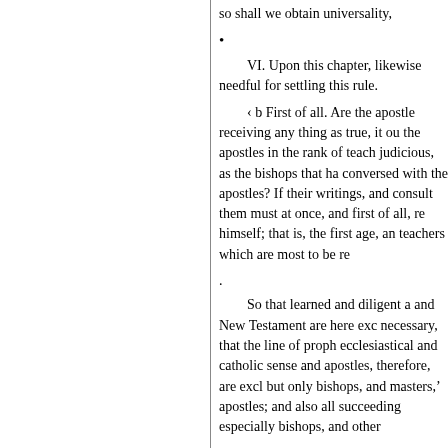so shall we obtain universality,
•
VI. Upon this chapter, likewise needful for settling this rule.
‹ b First of all. Are the apostle receiving any thing as true, it ou the apostles in the rank of teach judicious, as the bishops that ha conversed with the apostles? If their writings, and consult them must at once, and first of all, re himself; that is, the first age, an teachers which are most to be re
.
So that learned and diligent a and New Testament are here exc necessary, that the line of proph ecclesiastical and catholic sense and apostles, therefore, are excl but only bishops, and masters,' apostles; and also all succeeding especially bishops, and other